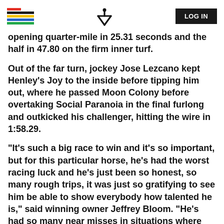LOG IN
opening quarter-mile in 25.31 seconds and the half in 47.80 on the firm inner turf.
Out of the far turn, jockey Jose Lezcano kept Henley's Joy to the inside before tipping him out, where he passed Moon Colony before overtaking Social Paranoia in the final furlong and outkicked his challenger, hitting the wire in 1:58.29.
"It's such a big race to win and it's so important, but for this particular horse, he's had the worst racing luck and he's just been so honest, so many rough trips, it was just so gratifying to see him be able to show everybody how talented he is," said winning owner Jeffrey Bloom. "He's had so many near misses in situations where things didn't go right and he answered the call today in a big spot."